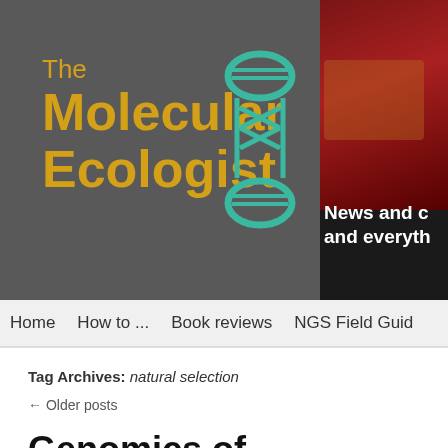[Figure (logo): The Molecular Ecologist website header banner with logo text and DNA icon on dark grey background, with partial red/book image on right side]
Home   How to ...   Book reviews   NGS Field Guid
Tag Archives: natural selection
← Older posts
Genomics of Hybridization – Part 2015